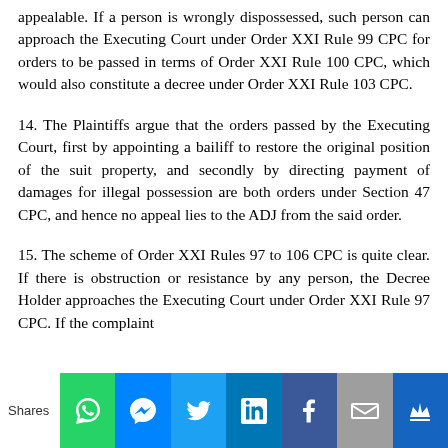appealable. If a person is wrongly dispossessed, such person can approach the Executing Court under Order XXI Rule 99 CPC for orders to be passed in terms of Order XXI Rule 100 CPC, which would also constitute a decree under Order XXI Rule 103 CPC.
14. The Plaintiffs argue that the orders passed by the Executing Court, first by appointing a bailiff to restore the original position of the suit property, and secondly by directing payment of damages for illegal possession are both orders under Section 47 CPC, and hence no appeal lies to the ADJ from the said order.
15. The scheme of Order XXI Rules 97 to 106 CPC is quite clear. If there is obstruction or resistance by any person, the Decree Holder approaches the Executing Court under Order XXI Rule 97 CPC. If the complaint...